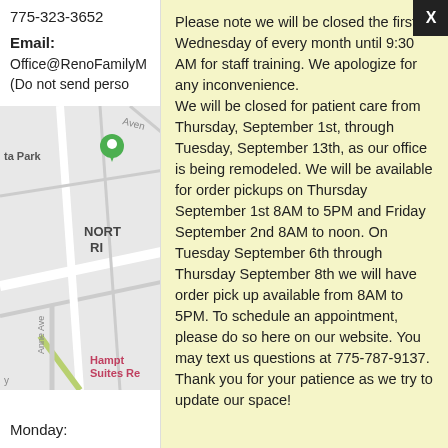775-323-3652
Email:
Office@RenoFamilyM...
(Do not send perso...
[Figure (map): Street map showing location near North Reno area with a green marker pin, showing streets including Anne Ave, Hampton Suites Re area]
Monday:
Please note we will be closed the first Wednesday of every month until 9:30 AM for staff training. We apologize for any inconvenience. We will be closed for patient care from Thursday, September 1st, through Tuesday, September 13th, as our office is being remodeled. We will be available for order pickups on Thursday September 1st 8AM to 5PM and Friday September 2nd 8AM to noon. On Tuesday September 6th through Thursday September 8th we will have order pick up available from 8AM to 5PM. To schedule an appointment, please do so here on our website. You may text us questions at 775-787-9137. Thank you for your patience as we try to update our space!